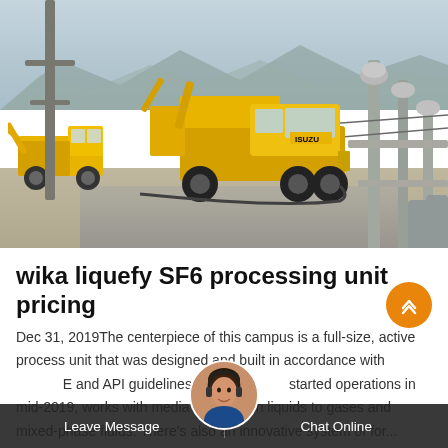[Figure (photo): Photograph of yellow Isuzu utility/service trucks parked near a high-voltage electrical substation with transformers and power lines visible, desert/industrial setting]
wika liquefy SF6 processing unit pricing
Dec 31, 2019The centerpiece of this campus is a full-size, active process unit that was designed and built in accordance with AIChE and API guidelines. The unit, started operations in mid-2019, works with media ranging from liquids to gases and mixed-phase fluids. There's also an innovative system of for...